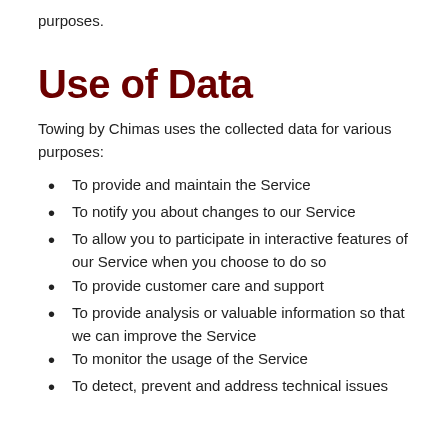purposes.
Use of Data
Towing by Chimas uses the collected data for various purposes:
To provide and maintain the Service
To notify you about changes to our Service
To allow you to participate in interactive features of our Service when you choose to do so
To provide customer care and support
To provide analysis or valuable information so that we can improve the Service
To monitor the usage of the Service
To detect, prevent and address technical issues